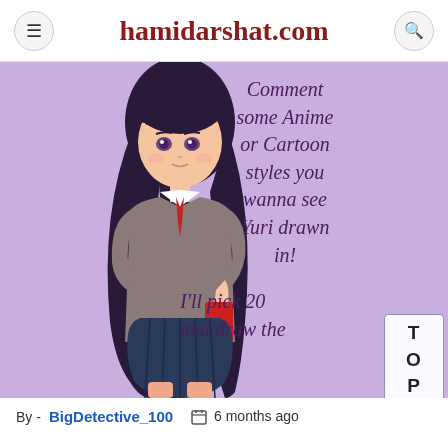hamidarshat.com
[Figure (illustration): Anime girl character with long dark purple hair, wearing a school uniform with grey top, red tie, and dark blue skirt, standing against a purple background with italic text: 'Comment some Anime or Cartoon styles you wanna see Yuri drawn in! I'll pick 20 and draw the' — text appears partially obscured by a TOP navigation button on the right side.]
By - BigDetective_100   6 months ago